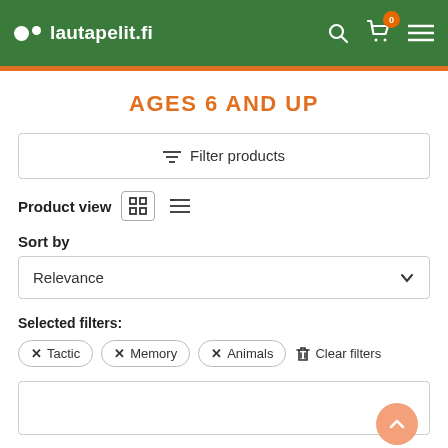lautapelit.fi — header navigation with logo, search, cart (0), and menu
AGES 6 AND UP
Filter products
Product view
Sort by
Relevance
Selected filters:
× Tactic
× Memory
× Animals
Clear filters